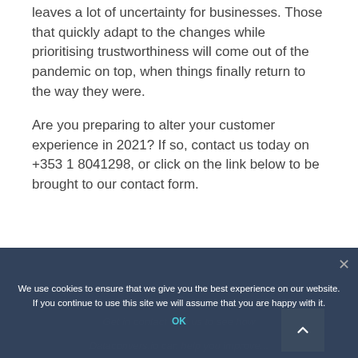leaves a lot of uncertainty for businesses. Those that quickly adapt to the changes while prioritising trustworthiness will come out of the pandemic on top, when things finally return to the way they were.
Are you preparing to alter your customer experience in 2021? If so, contact us today on +353 1 8041298, or click on the link below to be brought to our contact form.
We use cookies to ensure that we give you the best experience on our website. If you continue to use this site we will assume that you are happy with it.
OK